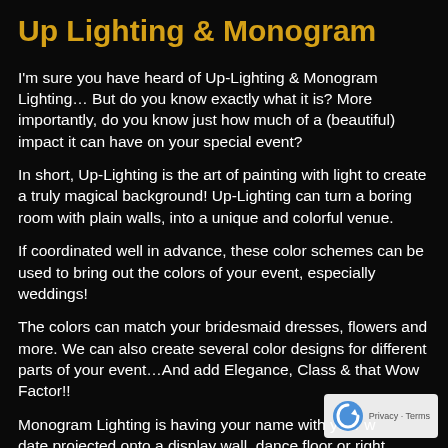Up Lighting & Monogram
I'm sure you have heard of Up-Lighting & Monogram Lighting… But do you know exactly what it is? More importantly, do you know just how much of a (beautiful) impact it can have on your special event?
In short, Up-Lighting is the art of painting with light to create a truly magical background! Up-Lighting can turn a boring room with plain walls, into a unique and colorful venue.
If coordinated well in advance, these color schemes can be used to bring out the colors of your event, especially weddings!
The colors can match your bridesmaid dresses, flowers and more. We can also create several color designs for different parts of your event…And add Elegance, Class & that Wow Factor!!
Monogram Lighting is having your name with your wedding date projected onto a display wall, dance floor or right